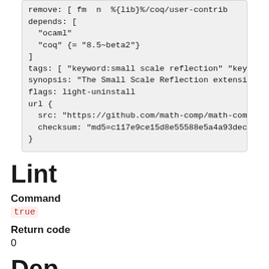remove: [ fm  n  %{lib}%/coq/user-contrib
depends: [
  "ocaml"
  "coq" {= "8.5~beta2"}
]
tags: [ "keyword:small scale reflection" "key
synopsis: "The Small Scale Reflection extensi
flags: light-uninstall
url {
  src: "https://github.com/math-comp/math-com
  checksum: "md5=c117e9ce15d8e55588e5a4a93dec
}
Lint
Command
true
Return code
0
Dependencies